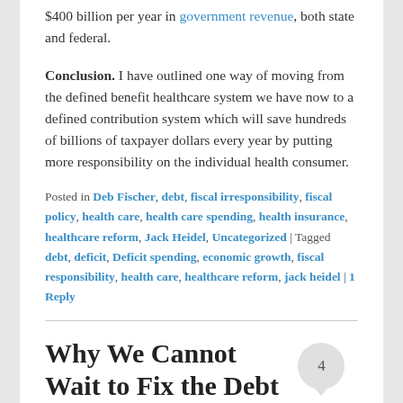$400 billion per year in government revenue, both state and federal.
Conclusion. I have outlined one way of moving from the defined benefit healthcare system we have now to a defined contribution system which will save hundreds of billions of taxpayer dollars every year by putting more responsibility on the individual health consumer.
Posted in Deb Fischer, debt, fiscal irresponsibility, fiscal policy, health care, health care spending, health insurance, healthcare reform, Jack Heidel, Uncategorized | Tagged debt, deficit, Deficit spending, economic growth, fiscal responsibility, health care, healthcare reform, jack heidel | 1 Reply
Why We Cannot Wait to Fix the Debt
Posted on January 16, 2018